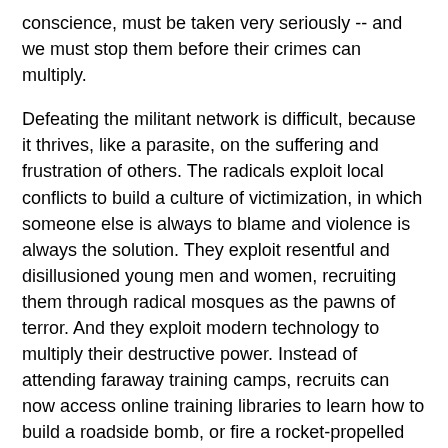conscience, must be taken very seriously -- and we must stop them before their crimes can multiply.
Defeating the militant network is difficult, because it thrives, like a parasite, on the suffering and frustration of others. The radicals exploit local conflicts to build a culture of victimization, in which someone else is always to blame and violence is always the solution. They exploit resentful and disillusioned young men and women, recruiting them through radical mosques as the pawns of terror. And they exploit modern technology to multiply their destructive power. Instead of attending faraway training camps, recruits can now access online training libraries to learn how to build a roadside bomb, or fire a rocket-propelled grenade -- and this further spreads the threat of violence, even within peaceful democratic societies.
The influence of Islamic radicalism is also magnified by helpers and enablers. They have been sheltered by authoritarian regimes, allies of convenience like Syria and Iran, that share the goal of hurting America and moderate Muslim governments, and use terrorist propaganda to blame